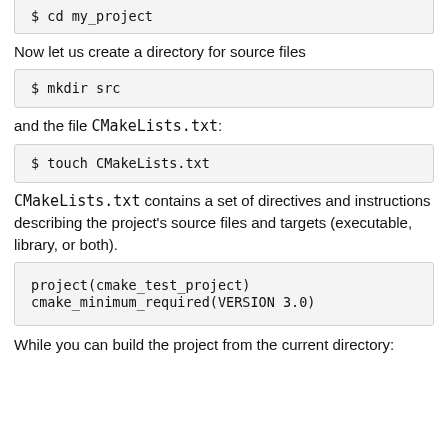[Figure (screenshot): Code block showing: $ cd my_project (partially visible at top)]
Now let us create a directory for source files
[Figure (screenshot): Code block showing: $ mkdir src]
and the file CMakeLists.txt:
[Figure (screenshot): Code block showing: $ touch CMakeLists.txt]
CMakeLists.txt contains a set of directives and instructions describing the project's source files and targets (executable, library, or both).
[Figure (screenshot): Code block showing: project(cmake_test_project)
cmake_minimum_required(VERSION 3.0)]
While you can build the project from the current directory: